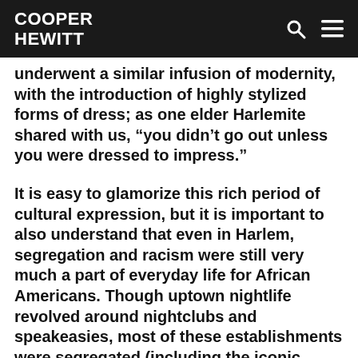COOPER HEWITT
underwent a similar infusion of modernity, with the introduction of highly stylized forms of dress; as one elder Harlemite shared with us, “you didn’t go out unless you were dressed to impress.”
It is easy to glamorize this rich period of cultural expression, but it is important to also understand that even in Harlem, segregation and racism were still very much a part of everyday life for African Americans. Though uptown nightlife revolved around nightclubs and speakeasies, most of these establishments were segregated (including the iconic Cotton Club), with only a few integrated venues available, such as the Savoy Ballroom and Smalls Paradise. The impact of the innovations that took place in Harlem in the 1920s are not yet fully understood or accepted as we as a country continue